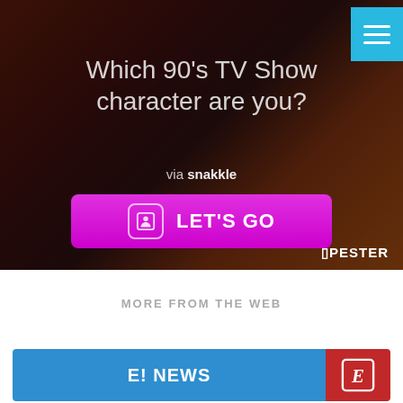[Figure (screenshot): Interactive quiz widget with dark photo background showing people in red/orange outfits. Contains title text 'Which 90's TV Show character are you?', 'via snakkle' attribution, a magenta 'LET'S GO' button with person icon, cyan hamburger menu button top-right, and 'APESTER' logo bottom-right.]
MORE FROM THE WEB
[Figure (screenshot): Card row with blue E! News banner and red logo tile]